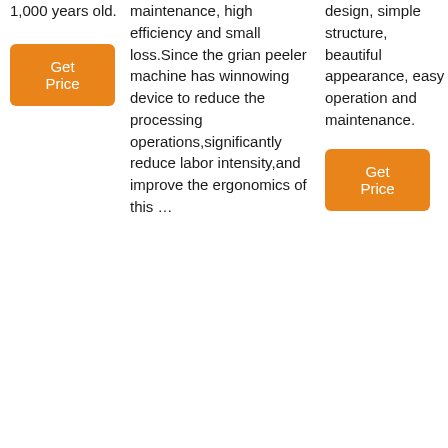1,000 years old.
Get Price
maintenance, high efficiency and small loss.Since the grian peeler machine has winnowing device to reduce the processing operations,significantly reduce labor intensity,and improve the ergonomics of this …
design, simple structure, beautiful appearance, easy operation and maintenance.
Get Price